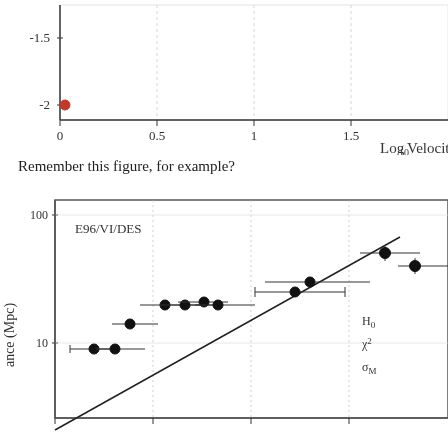[Figure (continuous-plot): Top portion of a scatter plot (cropped) showing data points with error bars. Y-axis shows values around -1.5 and -2. X-axis shows Log10 Velocity (k...) with tick marks at 0, 0.5, 1, 1.5. A red filled circle data point is visible near x=0, y=-2.]
Remember this figure, for example?
[Figure (scatter-plot): Scatter plot titled with label E96/VI/DES. Y-axis is Distance (Mpc) on log scale showing values from ~5 to ~50 with tick marks at 10 and 100. X-axis is partially visible (cut off). Data points are black filled circles with error bars. A diagonal line (best fit) runs through the data. Legend partially visible showing H0, chi-squared, sigma_M. Several clusters of data points visible at various distances (9-50 Mpc range).]